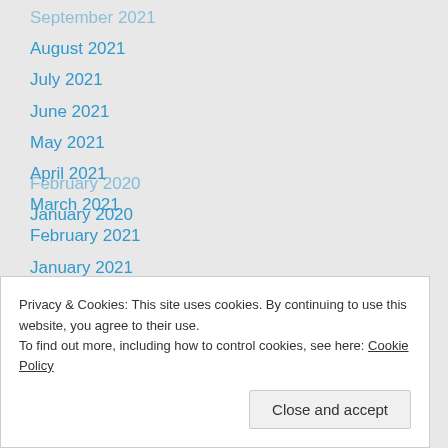September 2021
August 2021
July 2021
June 2021
May 2021
April 2021
March 2021
February 2021
January 2021
December 2020
November 2020
October 2020
September 2020
August 2020
July 2020
February 2020
January 2020
Privacy & Cookies: This site uses cookies. By continuing to use this website, you agree to their use.
To find out more, including how to control cookies, see here: Cookie Policy
Close and accept